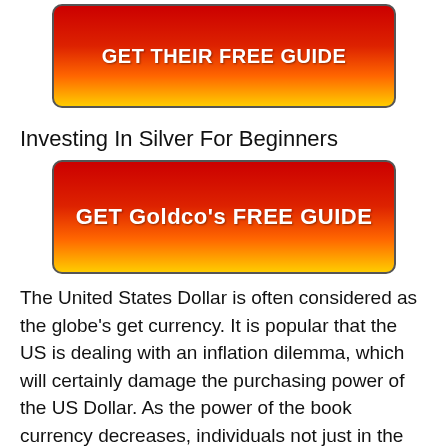[Figure (other): Red button with gold gradient at bottom reading GET THEIR FREE GUIDE in bold white text]
Investing In Silver For Beginners
[Figure (other): Red button with gold gradient at bottom reading GET Goldco's FREE GUIDE in bold white text]
The United States Dollar is often considered as the globe's get currency. It is popular that the US is dealing with an inflation dilemma, which will certainly damage the purchasing power of the US Dollar. As the power of the book currency decreases, individuals not just in the USA, yet around the globe, are likely